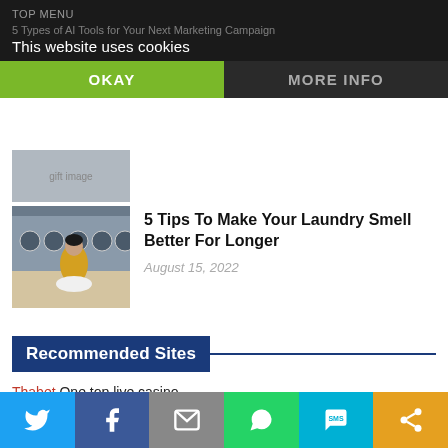This website uses cookies
OKAY
MORE INFO
[Figure (photo): Partial image of a gift-wrapped item, cut off at top]
[Figure (photo): Woman in yellow sweater doing laundry in a laundromat with washing machines in background]
5 Tips To Make Your Laundry Smell Better For Longer
August 15, 2022
Recommended Sites
Thabet One top live casino.
WorkBerry Jobs and Careers
SOCIAL
[Figure (infographic): Social sharing buttons: Twitter (blue), Facebook (dark blue), Email (grey), WhatsApp (green), SMS (cyan), Other (orange)]